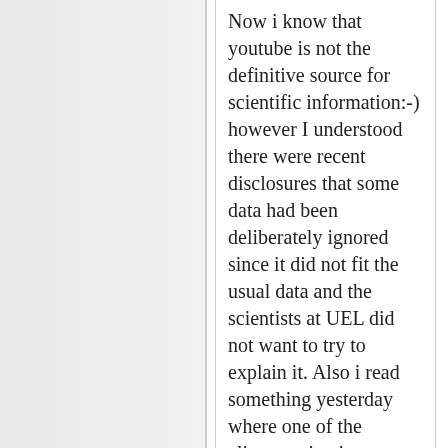Now i know that youtube is not the definitive source for scientific information:-) however I understood there were recent disclosures that some data had been deliberately ignored since it did not fit the usual data and the scientists at UEL did not want to try to explain it. Also i read something yesterday where one of the climate scientists "confessed" there had been no warming over the last decade. The